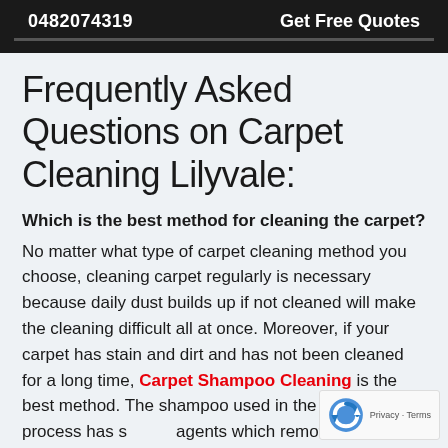0482074319    Get Free Quotes
Frequently Asked Questions on Carpet Cleaning Lilyvale:
Which is the best method for cleaning the carpet?
No matter what type of carpet cleaning method you choose, cleaning carpet regularly is necessary because daily dust builds up if not cleaned will make the cleaning difficult all at once. Moreover, if your carpet has stain and dirt and has not been cleaned for a long time, Carpet Shampoo Cleaning is the best method. The shampoo used in the cleaning process has special agents which remove bacteria dust and other de…